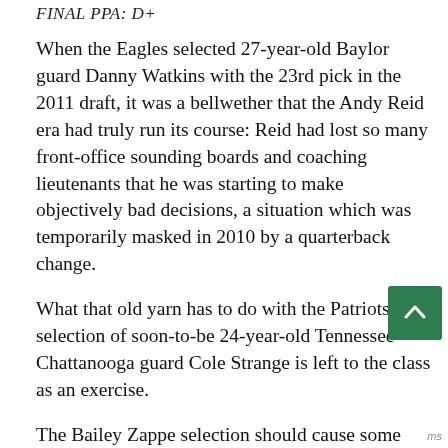FINAL PPA: D+
When the Eagles selected 27-year-old Baylor guard Danny Watkins with the 23rd pick in the 2011 draft, it was a bellwether that the Andy Reid era had truly run its course: Reid had lost so many front-office sounding boards and coaching lieutenants that he was starting to make objectively bad decisions, a situation which was temporarily masked in 2010 by a quarterback change.
What that old yarn has to do with the Patriots' selection of soon-to-be 24-year-old Tennessee-Chattanooga guard Cole Strange is left to the class as an exercise.
The Bailey Zappe selection should cause some delightful cognitive dissonance among the cheerleaders in the New England media. Mac Jones remains 100%, no-doubt-whatsover Tom Brady Junior!